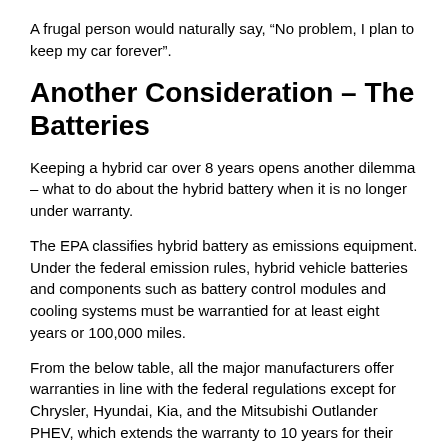A frugal person would naturally say, “No problem, I plan to keep my car forever”.
Another Consideration – The Batteries
Keeping a hybrid car over 8 years opens another dilemma – what to do about the hybrid battery when it is no longer under warranty.
The EPA classifies hybrid battery as emissions equipment. Under the federal emission rules, hybrid vehicle batteries and components such as battery control modules and cooling systems must be warrantied for at least eight years or 100,000 miles.
From the below table, all the major manufacturers offer warranties in line with the federal regulations except for Chrysler, Hyundai, Kia, and the Mitsubishi Outlander PHEV, which extends the warranty to 10 years for their hybrid cars.